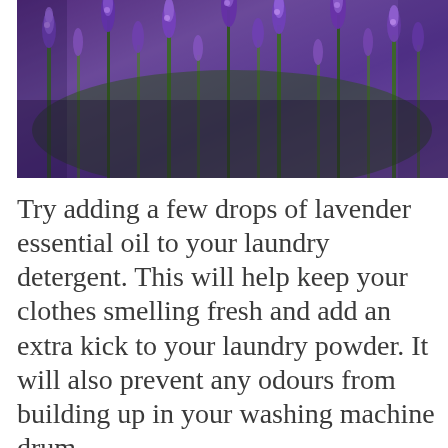[Figure (photo): Close-up photograph of purple lavender flowers in bloom against a green background]
Try adding a few drops of lavender essential oil to your laundry detergent. This will help keep your clothes smelling fresh and add an extra kick to your laundry powder. It will also prevent any odours from building up in your washing machine drum.
Lavender oil is also great alongside white vinegar. The next time you are using vinegar